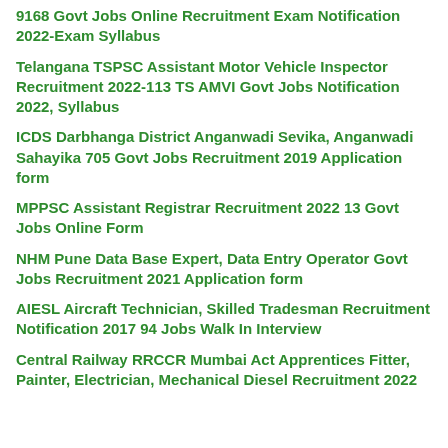9168 Govt Jobs Online Recruitment Exam Notification 2022-Exam Syllabus
Telangana TSPSC Assistant Motor Vehicle Inspector Recruitment 2022-113 TS AMVI Govt Jobs Notification 2022, Syllabus
ICDS Darbhanga District Anganwadi Sevika, Anganwadi Sahayika 705 Govt Jobs Recruitment 2019 Application form
MPPSC Assistant Registrar Recruitment 2022 13 Govt Jobs Online Form
NHM Pune Data Base Expert, Data Entry Operator Govt Jobs Recruitment 2021 Application form
AIESL Aircraft Technician, Skilled Tradesman Recruitment Notification 2017 94 Jobs Walk In Interview
Central Railway RRCCR Mumbai Act Apprentices Fitter, Painter, Electrician, Mechanical Diesel Recruitment 2022